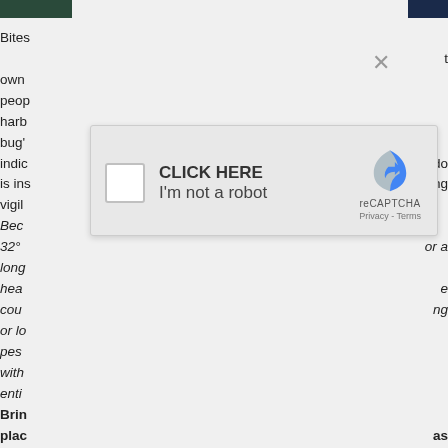[Figure (screenshot): Partial view of a webpage with a reCAPTCHA modal overlay. The background shows article text about bites, pet owners, people, harboring bugs, indications, vigilance, etc. A reCAPTCHA checkbox widget overlays the content with 'CLICK HERE' and 'I'm not a robot' text, along with the reCAPTCHA logo, Privacy and Terms links. A close (X) button appears in the upper right area.]